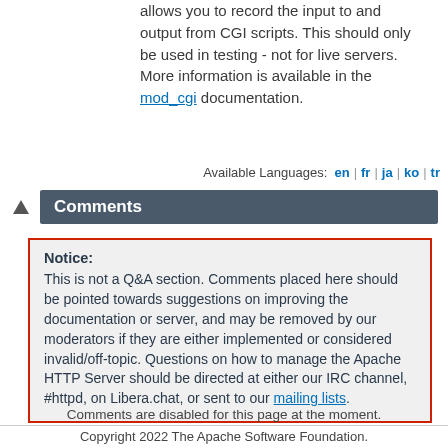allows you to record the input to and output from CGI scripts. This should only be used in testing - not for live servers. More information is available in the mod_cgi documentation.
Available Languages: en | fr | ja | ko | tr
Comments
Notice: This is not a Q&A section. Comments placed here should be pointed towards suggestions on improving the documentation or server, and may be removed by our moderators if they are either implemented or considered invalid/off-topic. Questions on how to manage the Apache HTTP Server should be directed at either our IRC channel, #httpd, on Libera.chat, or sent to our mailing lists.
Comments are disabled for this page at the moment.
Copyright 2022 The Apache Software Foundation.